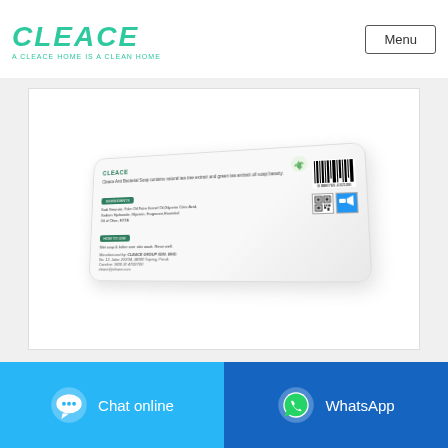[Figure (logo): CLEACE brand logo in teal/green with tagline A CLEACE HOME IS A CLEAN HOME]
Menu
[Figure (photo): Back of a Cleace soap bar product showing ingredients, barcode, QR code, and manufacturer information on a white background]
Chat online
WhatsApp